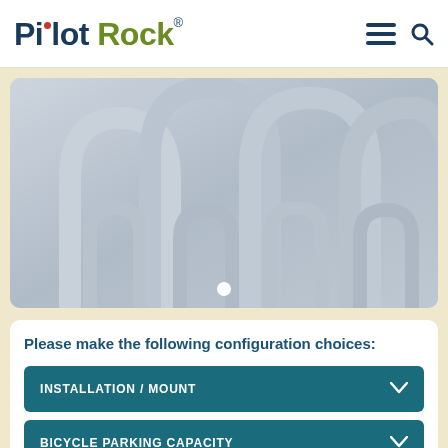Pilot Rock®
[Figure (photo): Close-up photograph of metal bike rack loops/arches, silver/steel color, showing U-shaped bike parking rack structures]
Please make the following configuration choices:
INSTALLATION / MOUNT
BICYCLE PARKING CAPACITY